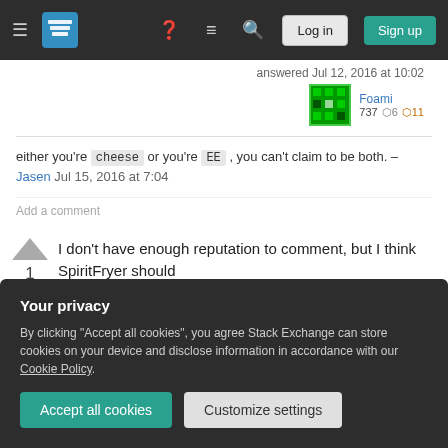Stack Exchange navigation bar with Log in and Sign up buttons
answered Jul 12, 2016 at 10:02
Foami 737 ★6 🏅11
either you're cheese or you're EE , you can't claim to be both. – Jasen Jul 15, 2016 at 7:04
Add a comment
I don't have enough reputation to comment, but I think SpiritFryer should
1
Your privacy
By clicking "Accept all cookies", you agree Stack Exchange can store cookies on your device and disclose information in accordance with our Cookie Policy.
Accept all cookies
Customize settings